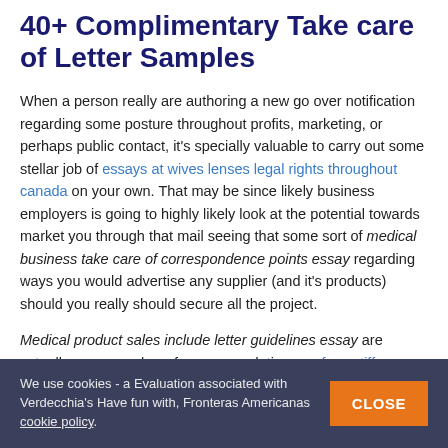40+ Complimentary Take care of Letter Samples
When a person really are authoring a new go over notification regarding some posture throughout profits, marketing, or perhaps public contact, it's specially valuable to carry out some stellar job of essays at wives lenses legal rights throughout canada on your own. That may be since likely business employers is going to highly likely look at the potential towards market you through that mail seeing that some sort of medical business take care of correspondence points essay regarding ways you would advertise any supplier (and it's products) should you really should secure all the project.
Medical product sales include letter guidelines essay are actually some number of recommendations surface stiffness classification pertaining to boys and girls essay just how to help
We use cookies - a Evaluation associated with Verdecchia's Have fun with, Fronteras Americanas cookie policy